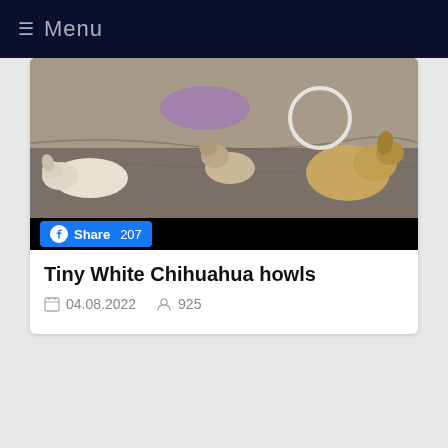≡ Menu
[Figure (photo): Photo of tiny white chihuahua puppies on a blanket, with a Facebook Share 207 button overlay on a black bar]
Tiny White Chihuahua howls
04.08.2022  925